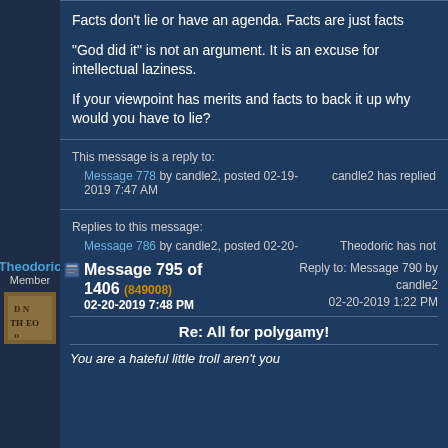Facts don't lie or have an agenda. Facts are just facts
"God did it" is not an argument. It is an excuse for intellectual laziness.
If your viewpoint has merits and facts to back it up why would you have to lie?
This message is a reply to:
Message 778 by candle2, posted 02-19-2019 7:47 AM
candle2 has replied
Replies to this message:
Message 786 by candle2, posted 02-20-2019 7:01 AM
Theodoric has not replied
Theodoric Member
Message 795 of 1406 (849008) 02-20-2019 7:48 PM
Reply to: Message 790 by candle2 02-20-2019 1:22 PM
Re: All for polygamy!
You are a hateful little troll aren't you